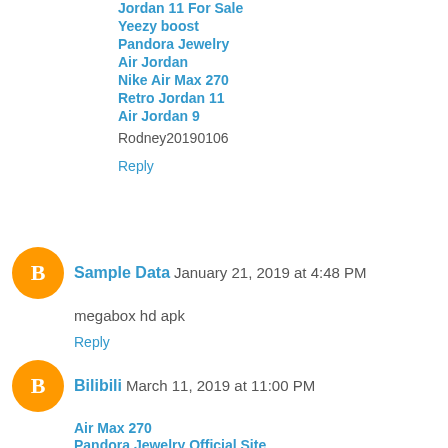Jordan 11 For Sale
Yeezy boost
Pandora Jewelry
Air Jordan
Nike Air Max 270
Retro Jordan 11
Air Jordan 9
Rodney20190106
Reply
Sample Data  January 21, 2019 at 4:48 PM
megabox hd apk
Reply
Bilibili  March 11, 2019 at 11:00 PM
Air Max 270
Pandora Jewelry Official Site
Pandora
Yeezy boost 350 v2